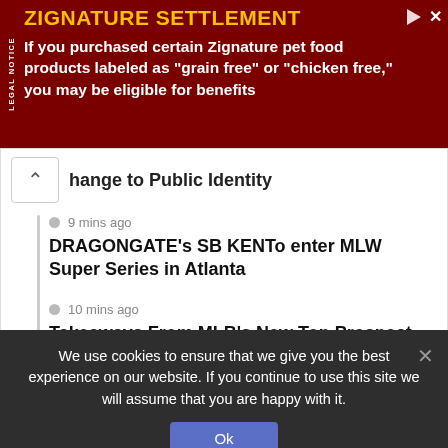[Figure (screenshot): Advertisement banner for ZIGNATURE SETTLEMENT. Dark red background with 'LEGAL NOTICE' text rotated vertically on left side. Yellow bold title 'ZIGNATURE SETTLEMENT' with white body text: 'If you purchased certain Zignature pet food products labeled as "grain free" or "chicken free," you may be eligible for benefits']
hange to Public Identity
9 mins ago
DRAGONGATE's SB KENTo enter MLW Super Series in Atlanta
10 mins ago
Takeaways From MLB's New Top Prospect List | Minnesota Twins Top Prospects
We use cookies to ensure that we give you the best experience on our website. If you continue to use this site we will assume that you are happy with it.